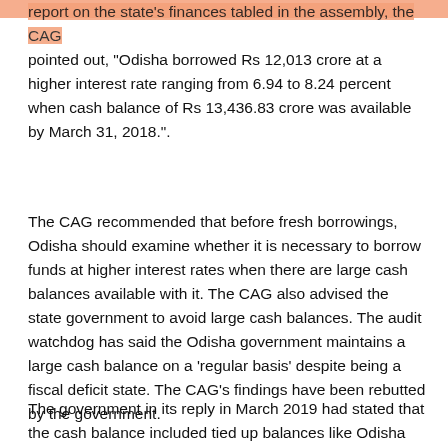report on the state's finances tabled in the assembly, the CAG pointed out, "Odisha borrowed Rs 12,013 crore at a higher interest rate ranging from 6.94 to 8.24 percent when cash balance of Rs 13,436.83 crore was available by March 31, 2018.".
The CAG recommended that before fresh borrowings, Odisha should examine whether it is necessary to borrow funds at higher interest rates when there are large cash balances available with it. The CAG also advised the state government to avoid large cash balances. The audit watchdog has said the Odisha government maintains a large cash balance on a ‘regular basis’ despite being a fiscal deficit state. The CAG’s findings have been rebutted by the government.
The government in its reply in March 2019 had stated that the cash balance included tied up balances like Odisha Mineral Bearing Areas Development Corporation (OMBADC) Fund